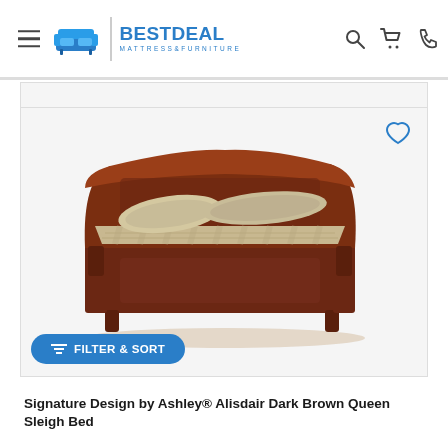[Figure (logo): BestDeal Mattress & Furniture logo with blue sofa icon and brand name]
[Figure (photo): Signature Design by Ashley Alisdair Dark Brown Queen Sleigh Bed — a cherry/dark brown wood sleigh bed with curved headboard and footboard, dressed with beige/gold bedding and two pillows]
Signature Design by Ashley® Alisdair Dark Brown Queen Sleigh Bed